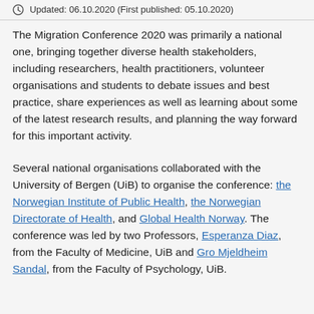Updated: 06.10.2020 (First published: 05.10.2020)
The Migration Conference 2020 was primarily a national one, bringing together diverse health stakeholders, including researchers, health practitioners, volunteer organisations and students to debate issues and best practice, share experiences as well as learning about some of the latest research results, and planning the way forward for this important activity.
Several national organisations collaborated with the University of Bergen (UiB) to organise the conference: the Norwegian Institute of Public Health, the Norwegian Directorate of Health, and Global Health Norway. The conference was led by two Professors, Esperanza Diaz, from the Faculty of Medicine, UiB and Gro Mjeldheim Sandal, from the Faculty of Psychology, UiB.